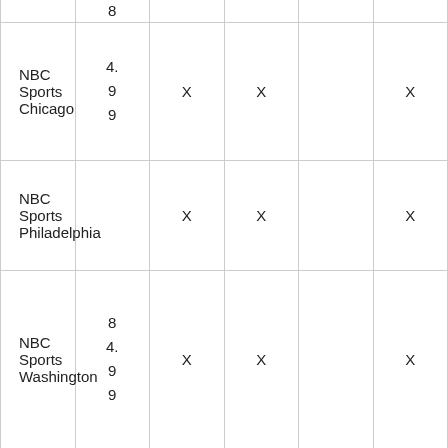| Channel | Price | Col3 | Col4 | Col5 | Col6 |
| --- | --- | --- | --- | --- | --- |
| NBC Sports Chicago | 8
4.
9
9 | X | X |  | X |
| NBC Sports Philadelphia |  | X | X |  | X |
| NBC Sports Washington | 8
4.
9
9 | X | X |  | X |
| Root Sports | 8
4. | X |  |  |  |